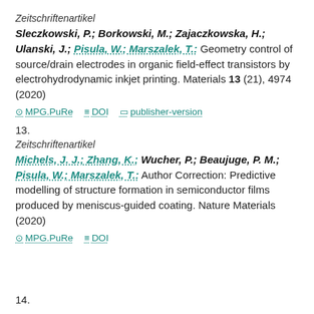Zeitschriftenartikel
Sleczkowski, P.; Borkowski, M.; Zajaczkowska, H.; Ulanski, J.; Pisula, W.; Marszalek, T.: Geometry control of source/drain electrodes in organic field-effect transistors by electrohydrodynamic inkjet printing. Materials 13 (21), 4974 (2020)
MPG.PuRe   DOI   publisher-version
13.
Zeitschriftenartikel
Michels, J. J.; Zhang, K.; Wucher, P.; Beaujuge, P. M.; Pisula, W.; Marszalek, T.: Author Correction: Predictive modelling of structure formation in semiconductor films produced by meniscus-guided coating. Nature Materials (2020)
MPG.PuRe   DOI
14.